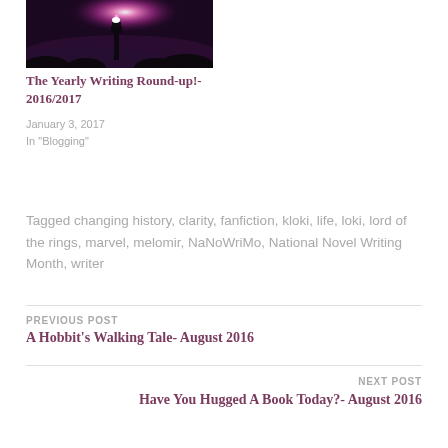[Figure (photo): Dark nighttime photo of a lighthouse with a bright pink/white glowing light at the top, silhouetted against a foggy purple-pink sky]
The Yearly Writing Round-up!- 2016/2017
January 3, 2017
In "Blogging"
Tagged changing history, clarity, fanfiction, kloki, life, loki, lord of the rings, marvel, melomir, NaNoWriMo, National Novel Writing Month, writer
PREVIOUS POST
A Hobbit's Walking Tale- August 2016
NEXT POST
Have You Hugged A Book Today?- August 2016